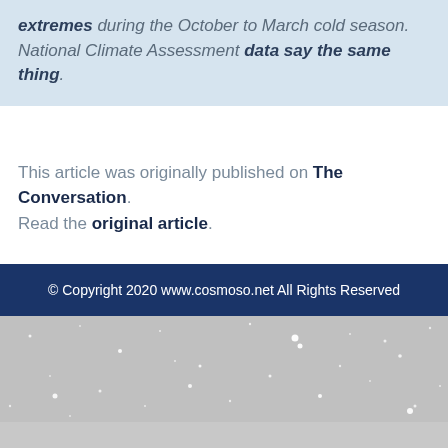extremes during the October to March cold season. National Climate Assessment data say the same thing.
This article was originally published on The Conversation. Read the original article.
© Copyright 2020 www.cosmoso.net All Rights Reserved
[Figure (photo): Sparkly silver/grey background with white star-like light spots scattered across it, resembling a night sky or glitter texture.]